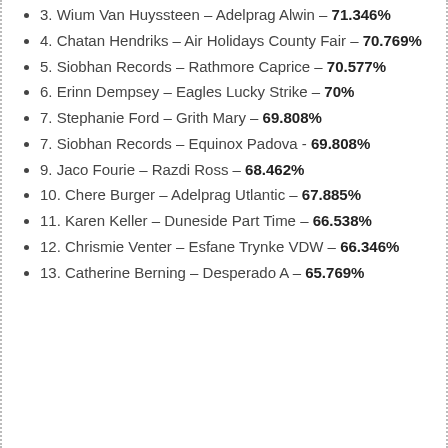3. Wium Van Huyssteen – Adelprag Alwin – 71.346%
4. Chatan Hendriks – Air Holidays County Fair – 70.769%
5. Siobhan Records – Rathmore Caprice – 70.577%
6. Erinn Dempsey – Eagles Lucky Strike – 70%
7. Stephanie Ford – Grith Mary – 69.808%
7. Siobhan Records – Equinox Padova - 69.808%
9. Jaco Fourie – Razdi Ross – 68.462%
10. Chere Burger – Adelprag Utlantic – 67.885%
11. Karen Keller – Duneside Part Time – 66.538%
12. Chrismie Venter – Esfane Trynke VDW – 66.346%
13. Catherine Berning – Desperado A – 65.769%